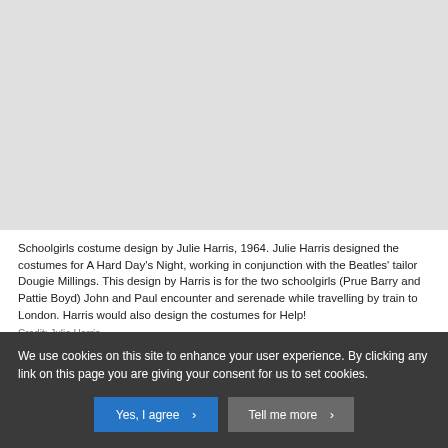[Figure (photo): A greyed-out placeholder image area for a schoolgirls costume design by Julie Harris, 1964.]
Schoolgirls costume design by Julie Harris, 1964. Julie Harris designed the costumes for A Hard Day's Night, working in conjunction with the Beatles' tailor Dougie Millings. This design by Harris is for the two schoolgirls (Prue Barry and Pattie Boyd) John and Paul encounter and serenade while travelling by train to London. Harris would also design the costumes for Help!
Credit: Julie Harris
We use cookies on this site to enhance your user experience. By clicking any link on this page you are giving your consent for us to set cookies.